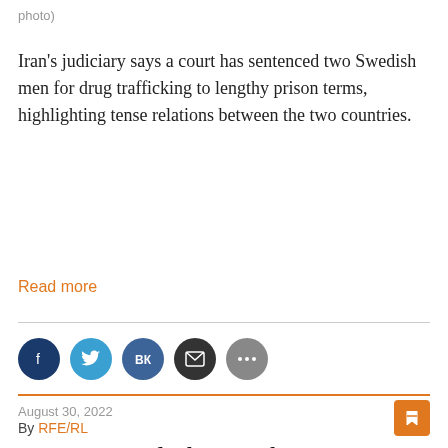photo)
Iran’s judiciary says a court has sentenced two Swedish men for drug trafficking to lengthy prison terms, highlighting tense relations between the two countries.
Read more
[Figure (infographic): Social media sharing icons: Facebook (dark blue), Twitter (light blue), VK (blue-grey), Email (dark), More/ellipsis (grey)]
August 30, 2022
By RFE/RL
First UN Aid Ship With